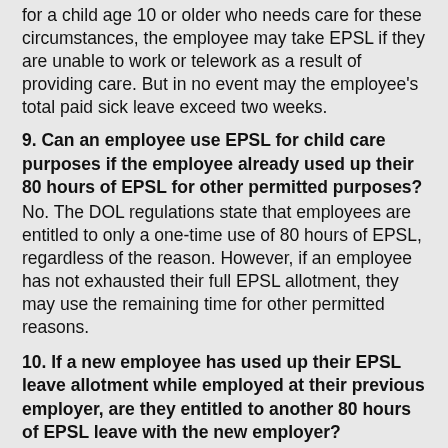for a child age 10 or older who needs care for these circumstances, the employee may take EPSL if they are unable to work or telework as a result of providing care. But in no event may the employee's total paid sick leave exceed two weeks.
9. Can an employee use EPSL for child care purposes if the employee already used up their 80 hours of EPSL for other permitted purposes?
No. The DOL regulations state that employees are entitled to only a one-time use of 80 hours of EPSL, regardless of the reason. However, if an employee has not exhausted their full EPSL allotment, they may use the remaining time for other permitted reasons.
10. If a new employee has used up their EPSL leave allotment while employed at their previous employer, are they entitled to another 80 hours of EPSL leave with the new employer?
No. The DOL regulations specify that any person is limited to a total of 80 hours of EPSL. An employee who has taken all such leave and then changes employers is not entitled to additional EPSL from their new employer. However, an employee who has taken some (but fewer than 80 hours of) EPSL and then changes employers is...